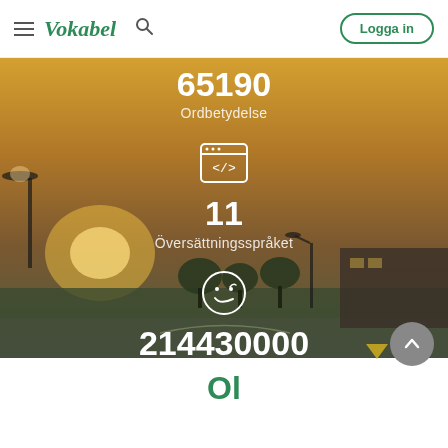Vokabel
65190
Ordbetydelse
[Figure (illustration): Code/browser window icon with angle brackets]
11
Översättningsspråket
[Figure (illustration): Smiley face emoji icon]
214430000
Exempel meningar
[Figure (photo): Background photo of a Swedish city roundabout at dusk/sunset]
Ol...